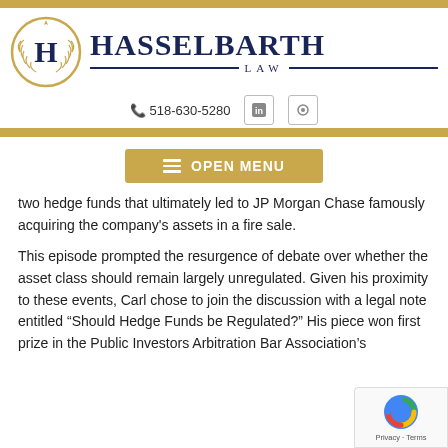[Figure (logo): Hasselbarth Law firm logo with circular emblem featuring the letter H with laurel wreath and gold decorative border, alongside the firm name HASSELBARTH LAW in navy blue]
518-630-5280
OPEN MENU
two hedge funds that ultimately led to JP Morgan Chase famously acquiring the company's assets in a fire sale.
This episode prompted the resurgence of debate over whether the asset class should remain largely unregulated. Given his proximity to these events, Carl chose to join the discussion with a legal note entitled “Should Hedge Funds be Regulated?” His piece won first prize in the Public Investors Arbitration Bar Association’s